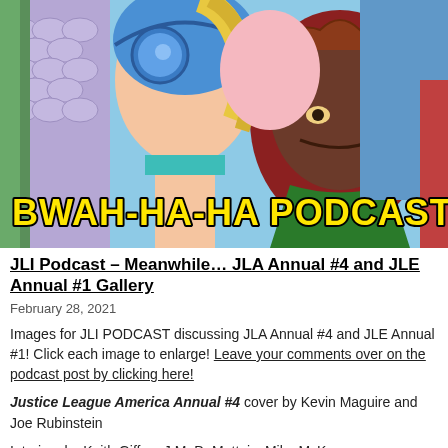[Figure (illustration): Comic book art showing superhero characters in close-up confrontation with colorful costumes. Overlaid with yellow text reading 'BWAH-HA-HA PODCAST' in bold stylized lettering with black outline.]
JLI Podcast – Meanwhile… JLA Annual #4 and JLE Annual #1 Gallery
February 28, 2021
Images for JLI PODCAST discussing JLA Annual #4 and JLE Annual #1! Click each image to enlarge! Leave your comments over on the podcast post by clicking here!
Justice League America Annual #4 cover by Kevin Maguire and Joe Rubinstein
Interiors by Keith Giffen, J.M. DeMatteis, Mike McKone